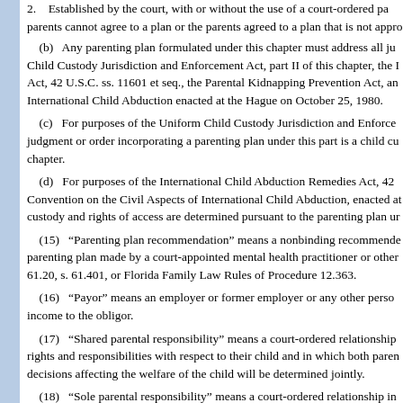2. Established by the court, with or without the use of a court-ordered parenting plan coordinator, when the parents cannot agree to a plan or the parents agreed to a plan that is not approved by the court.
(b) Any parenting plan formulated under this chapter must address all jurisdictional requirements of the Uniform Child Custody Jurisdiction and Enforcement Act, part II of this chapter, the International Child Abduction Remedies Act, 42 U.S.C. ss. 11601 et seq., the Parental Kidnapping Prevention Act, and the Hague Convention on the Civil Aspects of International Child Abduction enacted at the Hague on October 25, 1980.
(c) For purposes of the Uniform Child Custody Jurisdiction and Enforcement Act, part II of this chapter, a judgment or order incorporating a parenting plan under this part is a child custody determination as defined in part II of this chapter.
(d) For purposes of the International Child Abduction Remedies Act, 42 U.S.C. ss. 11601 et seq., and the Hague Convention on the Civil Aspects of International Child Abduction, enacted at the Hague on October 25, 1980, rights of custody and rights of access are determined pursuant to the parenting plan under this part.
(15) “Parenting plan recommendation” means a nonbinding recommendation concerning a parenting plan made by a court-appointed mental health practitioner or other professional pursuant to s. 61.20, s. 61.401, or Florida Family Law Rules of Procedure 12.363.
(16) “Payor” means an employer or former employer or any other person or entity that provides income to the obligor.
(17) “Shared parental responsibility” means a court-ordered relationship in which both parents retain full rights and responsibilities with respect to their child and in which both parents must confer so that major decisions affecting the welfare of the child will be determined jointly.
(18) “Sole parental responsibility” means a court-ordered relationship in which one parent makes decisions regarding the minor child.
(19) “State Case Registry” means the automated registry maintained by